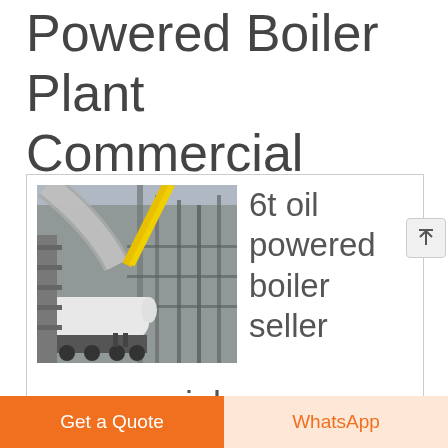Powered Boiler Plant Commercial Turkmenistan
[Figure (photo): Industrial boiler plant with large cylindrical equipment, pipes, cranes, and scaffolding at an industrial site.]
6t oil powered boiler seller commercial turkmenistan
Get a Quote
WhatsApp